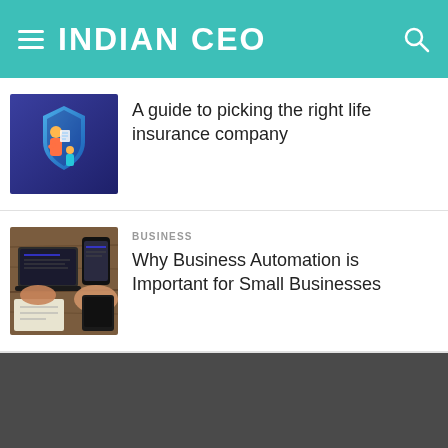INDIAN CEO
[Figure (illustration): Life insurance themed illustration with person and shield graphic in blue/purple tones]
A guide to picking the right life insurance company
[Figure (photo): Overhead photo of hands working on laptop and mobile devices on a wooden desk]
BUSINESS
Why Business Automation is Important for Small Businesses